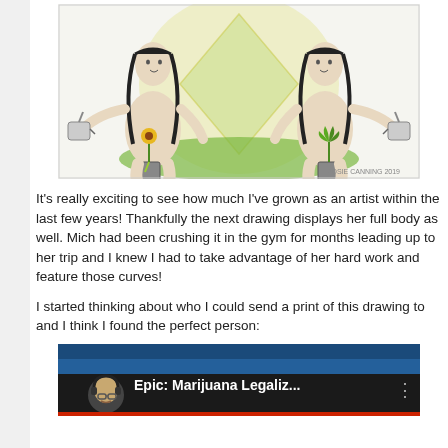[Figure (illustration): Pencil and watercolor illustration showing two mirrored female figures crouching and watering plants (a sunflower and a cannabis plant) with watering cans, with green watercolor grass at the bottom and a yellow/green mandala-like background.]
It's really exciting to see how much I've grown as an artist within the last few years! Thankfully the next drawing displays her full body as well. Mich had been crushing it in the gym for months leading up to her trip and I knew I had to take advantage of her hard work and feature those curves!
I started thinking about who I could send a print of this drawing to and I think I found the perfect person:
[Figure (screenshot): Screenshot of a YouTube video thumbnail/queue item showing a video titled 'Epic: Marijuana Legaliz...' with a bald man wearing headphones as the channel avatar, on a dark background.]